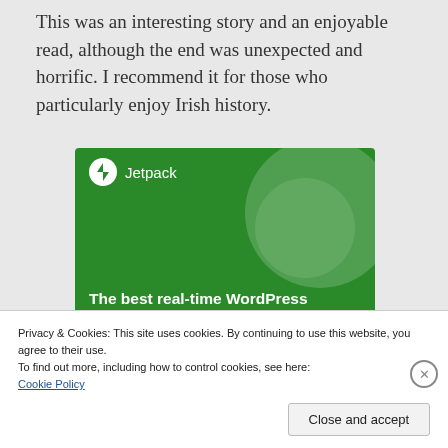This was an interesting story and an enjoyable read, although the end was unexpected and horrific. I recommend it for those who particularly enjoy Irish history.
[Figure (screenshot): Jetpack advertisement banner showing 'The best real-time WordPress backup plugin' on a green background with Jetpack logo]
Privacy & Cookies: This site uses cookies. By continuing to use this website, you agree to their use.
To find out more, including how to control cookies, see here:
Cookie Policy
Close and accept